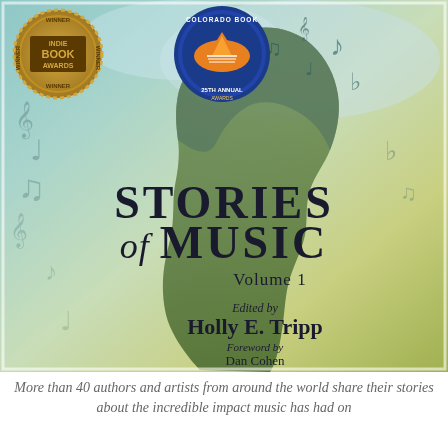[Figure (illustration): Book cover for 'Stories of Music Volume 1' edited by Holly E. Tripp, featuring a silhouette of a woman's head profile filled with musical notes and symbols on a teal/green watercolor background. Two award badges visible: Indie Book Awards Winner (gold seal, top left) and Colorado Book Awards 25th Annual (blue/orange circular badge, top center).]
More than 40 authors and artists from around the world share their stories about the incredible impact music has had on